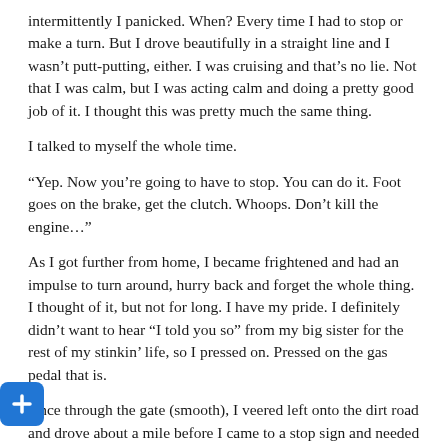intermittently I panicked. When? Every time I had to stop or make a turn. But I drove beautifully in a straight line and I wasn't putt-putting, either. I was cruising and that's no lie. Not that I was calm, but I was acting calm and doing a pretty good job of it. I thought this was pretty much the same thing.
I talked to myself the whole time.
“Yep. Now you’re going to have to stop. You can do it. Foot goes on the brake, get the clutch. Whoops. Don’t kill the engine…”
As I got further from home, I became frightened and had an impulse to turn around, hurry back and forget the whole thing. I thought of it, but not for long. I have my pride. I definitely didn’t want to hear “I told you so” from my big sister for the rest of my stinkin’ life, so I pressed on. Pressed on the gas pedal that is.
Once through the gate (smooth), I veered left onto the dirt road and drove about a mile before I came to a stop sign and needed to make a turn. I stayed in second gear and didn’t manage to stop but I did make the turn without killing the engine.
I thought this was impressive but on the downside, it hurt. I [ed] because I was pretty sure I got a bruise or a burn – or both [th]ose – under my shirt, from twisting my body under the